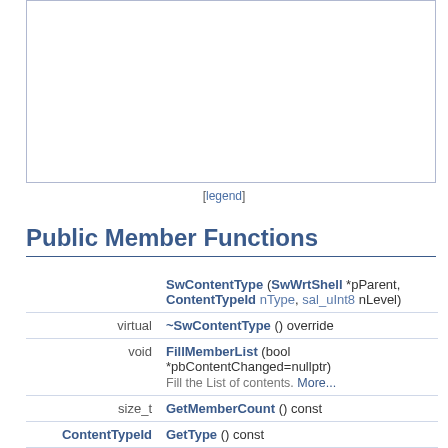[Figure (other): Inheritance/collaboration diagram box (empty white area with border)]
[legend]
Public Member Functions
| Type | Name |
| --- | --- |
|  | SwContentType (SwWrtShell *pParent, ContentTypeId nType, sal_uInt8 nLevel) |
| virtual | ~SwContentType () override |
| void | FillMemberList (bool *pbContentChanged=nullptr)
Fill the List of contents. More... |
| size_t | GetMemberCount () const |
| ContentTypeId | GetType () const |
| const SwContent * | GetMember (size_t nIndex) |